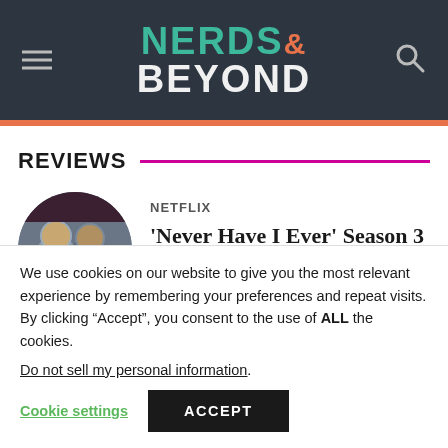NERDS& BEYOND
REVIEWS
[Figure (photo): Circular thumbnail photo of people smiling]
NETFLIX
'Never Have I Ever' Season 3
We use cookies on our website to give you the most relevant experience by remembering your preferences and repeat visits. By clicking “Accept”, you consent to the use of ALL the cookies.
Do not sell my personal information.
Cookie settings
ACCEPT